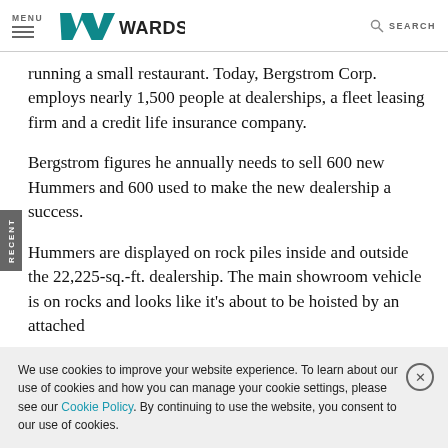MENU | WardsAuto | SEARCH
running a small restaurant. Today, Bergstrom Corp. employs nearly 1,500 people at dealerships, a fleet leasing firm and a credit life insurance company.
Bergstrom figures he annually needs to sell 600 new Hummers and 600 used to make the new dealership a success.
Hummers are displayed on rock piles inside and outside the 22,225-sq.-ft. dealership. The main showroom vehicle is on rocks and looks like it's about to be hoisted by an attached
We use cookies to improve your website experience. To learn about our use of cookies and how you can manage your cookie settings, please see our Cookie Policy. By continuing to use the website, you consent to our use of cookies.